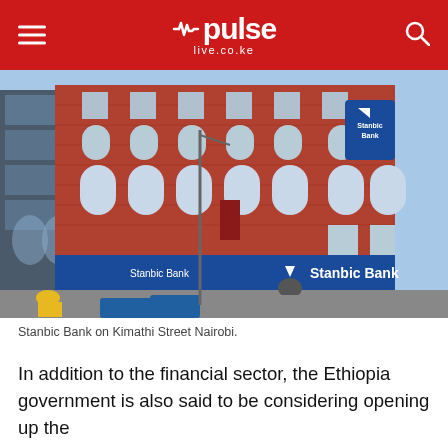pulse live.co.ke
[Figure (photo): Stanbic Bank building on Kimathi Street, Nairobi. A red brick multi-storey building with arched windows and a blue Stanbic Bank signage banner at street level. People and vehicles visible on the street.]
Stanbic Bank on Kimathi Street Nairobi.
In addition to the financial sector, the Ethiopia government is also said to be considering opening up the